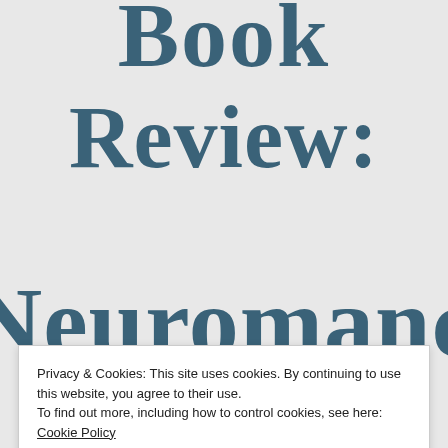Book
Review:
Neuromancer
Privacy & Cookies: This site uses cookies. By continuing to use this website, you agree to their use.
To find out more, including how to control cookies, see here: Cookie Policy
Close and accept